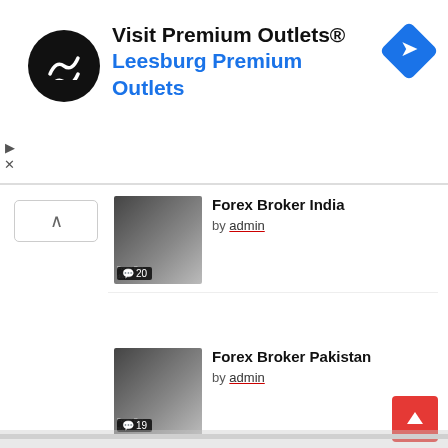[Figure (screenshot): Advertisement banner for Visit Premium Outlets® / Leesburg Premium Outlets with logo and navigation icon]
Forex Broker India by admin
Forex Broker Pakistan by admin
We use cookies on our website to give you the most relevant experience by remembering your preferences and repeat visits. By clicking "Accept All", you consent to the use of ALL the cookies. However, you may visit "Cookie Settings" to provide a controlled consent.